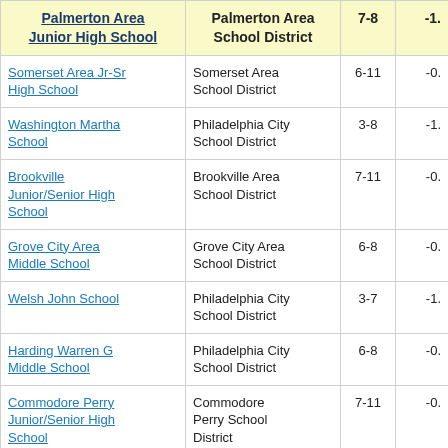| Palmerton Area Junior High School | Palmerton Area School District | 7-8 | -1. |
| --- | --- | --- | --- |
| Somerset Area Jr-Sr High School | Somerset Area School District | 6-11 | -0. |
| Washington Martha School | Philadelphia City School District | 3-8 | -1. |
| Brookville Junior/Senior High School | Brookville Area School District | 7-11 | -0. |
| Grove City Area Middle School | Grove City Area School District | 6-8 | -0. |
| Welsh John School | Philadelphia City School District | 3-7 | -1. |
| Harding Warren G Middle School | Philadelphia City School District | 6-8 | -0. |
| Commodore Perry Junior/Senior High School | Commodore Perry School District | 7-11 | -0. |